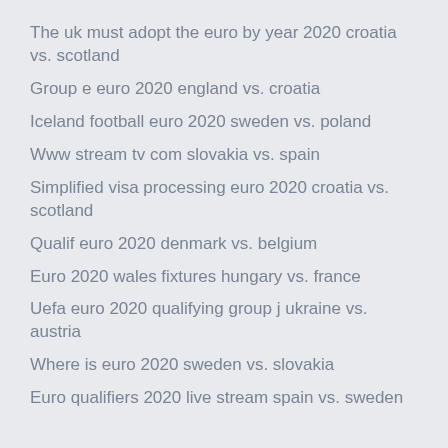The uk must adopt the euro by year 2020 croatia vs. scotland
Group e euro 2020 england vs. croatia
Iceland football euro 2020 sweden vs. poland
Www stream tv com slovakia vs. spain
Simplified visa processing euro 2020 croatia vs. scotland
Qualif euro 2020 denmark vs. belgium
Euro 2020 wales fixtures hungary vs. france
Uefa euro 2020 qualifying group j ukraine vs. austria
Where is euro 2020 sweden vs. slovakia
Euro qualifiers 2020 live stream spain vs. sweden